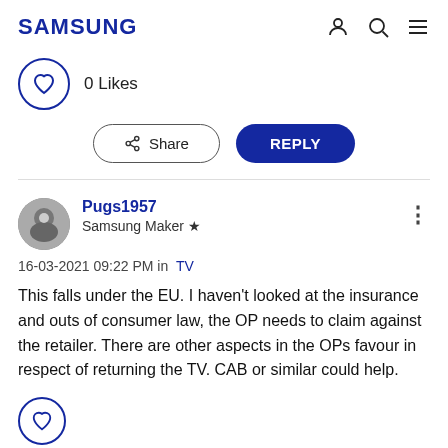SAMSUNG
0 Likes
Share   REPLY
Pugs1957
Samsung Maker ★
16-03-2021 09:22 PM in TV
This falls under the EU. I haven't looked at the insurance and outs of consumer law, the OP needs to claim against the retailer. There are other aspects in the OPs favour in respect of returning the TV. CAB or similar could help.